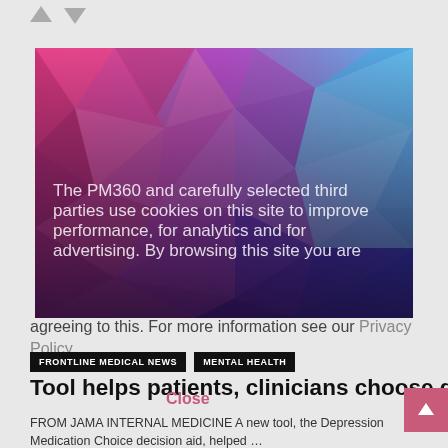[Figure (illustration): Abstract colorful geometric polygon art with pink, purple, and blue triangular facets, transitioning from warm pinks on the left to cool blues on the right, with a dark gradient overlay at the bottom containing semi-transparent white cookie notice text]
The PM360 and carefully selected third parties use cookies on this site to improve performance, for analytics and for advertising. By browsing this site you are agreeing to this. For more information see our Privacy Policy
FRONTLINE MEDICAL NEWS
MENTAL HEALTH
Tool helps patients, clinicians choose depression meds
FROM JAMA INTERNAL MEDICINE A new tool, the Depression Medication Choice decision aid, helped …